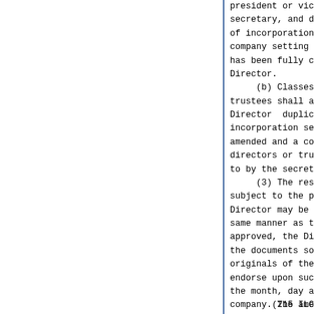president or vice president, secretary, and duplicate originals of incorporation and an affidavit of company setting forth the fact that has been fully complied with by the Director.
    (b) Classes 2 and 3. The trustees shall adopt the amendment. Director duplicate originals of incorporation setting forth the articles amended and a copy of the resolution of directors or trustees adopting the same, attested to by the secretary of the company.
    (3) The restated articles of incorporation, subject to the provisions of this Section, the Director may be approved or disapproved in the same manner as the original articles. If approved, the Director shall place on file the documents so delivered to him, retain the originals of the restated articles and shall endorse upon such duplicate originals the month, day and year of such approval by the company. The amendment shall be effective upon approval thereof by the Director and shall be filed for record, within 15 days after return to the company, in the office of the recorder where the principal office of the company is. (Source: P.A. 90-810, eff. 1-6-99.)
(215 ILCS 5/58)(from Ch. 73,